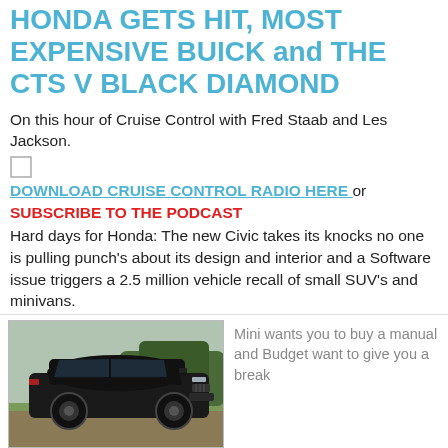HONDA GETS HIT, MOST EXPENSIVE BUICK and THE CTS V BLACK DIAMOND
On this hour of Cruise Control with Fred Staab and Les Jackson.
DOWNLOAD CRUISE CONTROL RADIO HERE or SUBSCRIBE TO THE PODCAST
Hard days for Honda: The new Civic takes its knocks no one is pulling punch's about its design and interior and a Software issue triggers a 2.5 million vehicle recall of small SUV's and minivans.
Talking Tech: State Farm brings an On Star competitor to the market.
[Figure (photo): Black Cadillac CTS-V coupe parked outdoors]
Mini wants you to buy a manual and Budget want to give you a break